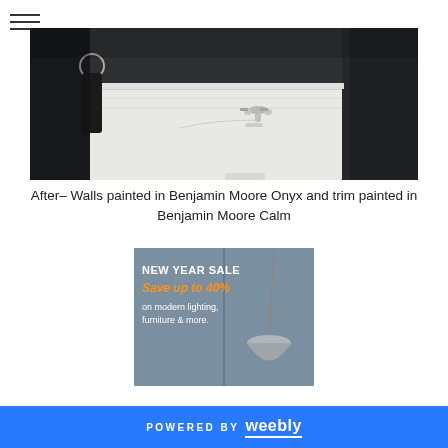[Figure (photo): Bathroom sink photo showing walls painted in Benjamin Moore Onyx (dark) and trim painted in Benjamin Moore Calm (white). A black towel hangs on a chrome ring on the left, and a chrome faucet is visible on the white pedestal sink.]
After– Walls painted in Benjamin Moore Onyx and trim painted in Benjamin Moore Calm
[Figure (infographic): Advertisement banner: NEW YEAR SALE Save up to 40% on modern lighting, furniture & more. Gray background with a pendant lamp image on the right side.]
POWERED BY weebly